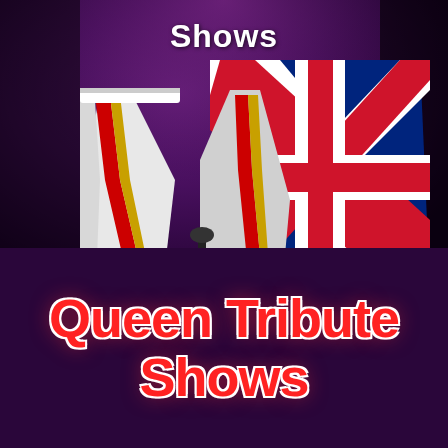[Figure (photo): Photo of a Queen tribute performer wearing white pants with red and gold stripes, holding/wearing a Union Jack flag, on a dark purple stage background]
Shows
Queen Tribute Shows